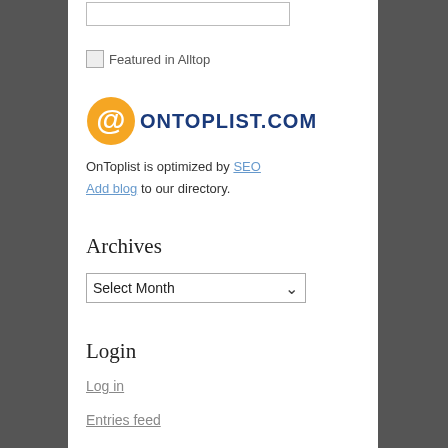[Figure (other): Search input box (partial, cropped at top)]
[Figure (other): Featured in Alltop link with small image placeholder]
[Figure (logo): OnTopList.com logo with orange @ symbol and dark blue uppercase text]
OnToplist is optimized by SEO Add blog to our directory.
Archives
[Figure (other): Select Month dropdown widget]
Login
Log in
Entries feed
Comments feed